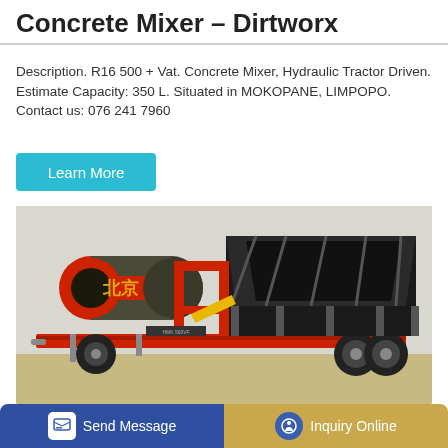Concrete Mixer – Dirtworx
Description. R16 500 + Vat. Concrete Mixer, Hydraulic Tractor Driven. Estimate Capacity: 350 L. Situated in MOKOPANE, LIMPOPO. Contact us: 076 241 7960
Learn More
[Figure (photo): A concrete mixer machine mounted on a red flatbed trailer. The mixer drum is large, dark grey/olive, with a red band and yellow hazard symbol. Behind it is a large aggregate hopper structure with black steel framing. The machine is parked on a concrete yard.]
Send Message | Inquiry Online